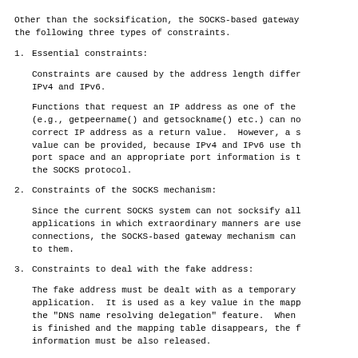Other than the socksification, the SOCKS-based gateway has the following three types of constraints.
1. Essential constraints:
Constraints are caused by the address length difference between IPv4 and IPv6.
Functions that request an IP address as one of the arguments (e.g., getpeername() and getsockname() etc.) can not get the correct IP address as a return value.  However, a sufficient value can be provided, because IPv4 and IPv6 use the same port space and an appropriate port information is transmitted by the SOCKS protocol.
2. Constraints of the SOCKS mechanism:
Since the current SOCKS system can not socksify all applications in which extraordinary manners are used for connections, the SOCKS-based gateway mechanism can not be applied to them.
3. Constraints to deal with the fake address:
The fake address must be dealt with as a temporary value in an application.  It is used as a key value in the mapping table for the "DNS name resolving delegation" feature.  When the connection is finished and the mapping table disappears, the fake address information must be also released.